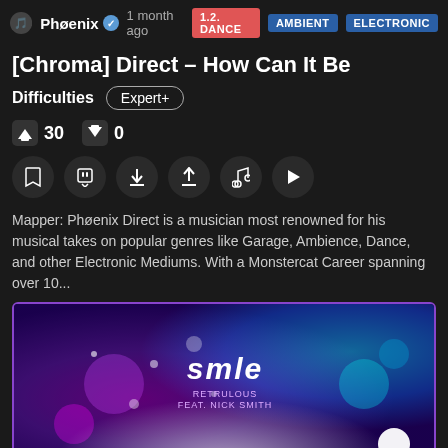Phøenix · 1 month ago · 1.2. DANCE · AMBIENT · ELECTRONIC
[Chroma] Direct – How Can It Be
Difficulties  Expert+
👍 30  👎 0
[Figure (screenshot): Row of action buttons: bookmark, Twitch, download, upload, music note, play]
Mapper: Phøenix Direct is a musician most renowned for his musical takes on popular genres like Garage, Ambience, Dance, and other Electronic Mediums. With a Monstercat Career spanning over 10...
[Figure (illustration): Purple and blue gradient album art with stylized 'smle' text and 'RETRULOUS feat. NICK SMITH' subtitle, with bokeh light effects]